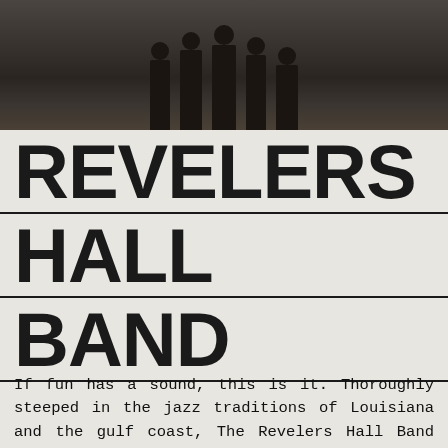[Figure (photo): Band photo showing several people standing in front of a building, viewed from approximately waist down, dark/moody tones]
REVELERS HALL BAND
If fun has a sound, this is it. Thoroughly steeped in the jazz traditions of Louisiana and the gulf coast, The Revelers Hall Band are sorcerers getting audiences on their feet. As they're likely to tell you at their live shows, "keep drinking,